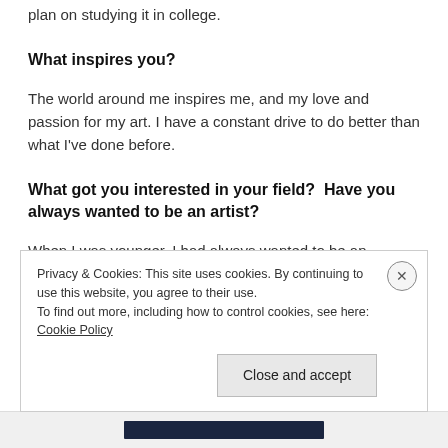plan on studying it in college.
What inspires you?
The world around me inspires me, and my love and passion for my art. I have a constant drive to do better than what I've done before.
What got you interested in your field?  Have you always wanted to be an artist?
When I was younger, I had always wanted to be an actress. Like any kid my age, I wanted to become famous and have a bunch of nice things. I did not realise how deep I would
Privacy & Cookies: This site uses cookies. By continuing to use this website, you agree to their use.
To find out more, including how to control cookies, see here: Cookie Policy
Close and accept